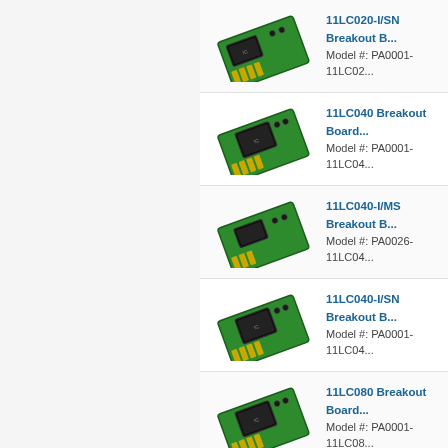[Figure (photo): 11LC020-I/SN Breakout Board product image - green PCB with IC chip and header pins]
11LC020-I/SN Breakout B...
Model #: PA0001-11LC02...
[Figure (photo): 11LC040 Breakout Board product image - green PCB with IC chip and header pins]
11LC040 Breakout Board...
Model #: PA0001-11LC04...
[Figure (photo): 11LC040-I/MS Breakout Board product image - green PCB with IC chip and header pins]
11LC040-I/MS Breakout B...
Model #: PA0026-11LC04...
[Figure (photo): 11LC040-I/SN Breakout Board product image - green PCB with IC chip and header pins]
11LC040-I/SN Breakout B...
Model #: PA0001-11LC04...
[Figure (photo): 11LC080 Breakout Board product image - green PCB with IC chip and header pins]
11LC080 Breakout Board...
Model #: PA0001-11LC08...
[Figure (photo): Partially visible breakout board product image at bottom]